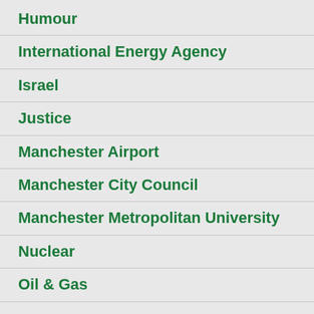Humour
International Energy Agency
Israel
Justice
Manchester Airport
Manchester City Council
Manchester Metropolitan University
Nuclear
Oil & Gas